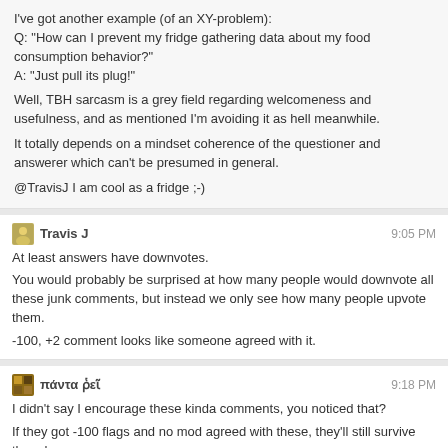I've got another example (of an XY-problem):
Q: "How can I prevent my fridge gathering data about my food consumption behavior?"
A: "Just pull its plug!"

Well, TBH sarcasm is a grey field regarding welcomeness and usefulness, and as mentioned I'm avoiding it as hell meanwhile.

It totally depends on a mindset coherence of the questioner and answerer which can't be presumed in general.

@TravisJ I am cool as a fridge ;-)
Travis J  9:05 PM
At least answers have downvotes.
You would probably be surprised at how many people would downvote all these junk comments, but instead we only see how many people upvote them.
-100, +2 comment looks like someone agreed with it.
πάντα ῥεῖ  9:18 PM
I didn't say I encourage these kinda comments, you noticed that?
If they got -100 flags and no mod agreed with these, they'll still survive though.
Travis J  9:20 PM
"You would be surprised" is mostly an expression used for a broader "you", meaning most people. I should have used a better expression, I know you wouldn't be surprised.
That said, I often wish there were comment downvotes.
πάντα ῥεῖ  9:23 PM
As an hobbyist actor, I well know how bad sarcasm is achieved in the broader public (auditorium). It's as you mentioned a matter of good timing and self-explanatory.